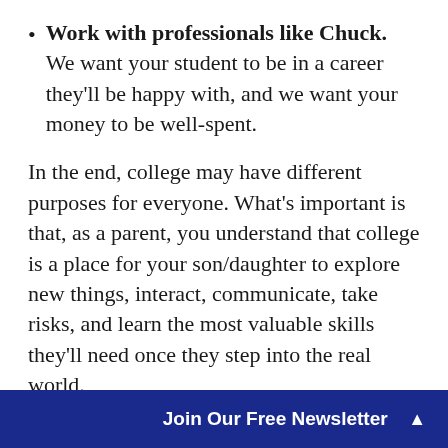Work with professionals like Chuck. We want your student to be in a career they'll be happy with, and we want your money to be well-spent.
In the end, college may have different purposes for everyone. What's important is that, as a parent, you understand that college is a place for your son/daughter to explore new things, interact, communicate, take risks, and learn the most valuable skills they'll need once they step into the real world.
Join Our Free Newsletter ▲